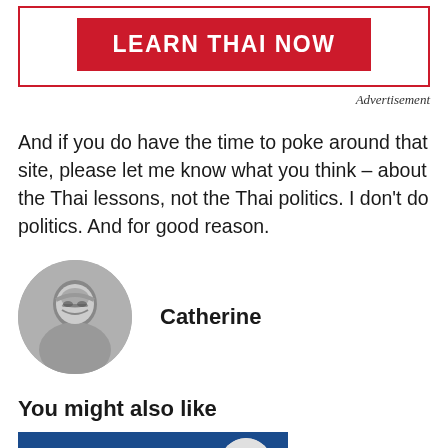[Figure (other): Advertisement box with red border and red button labeled LEARN THAI NOW]
Advertisement
And if you do have the time to poke around that site, please let me know what you think – about the Thai lessons, not the Thai politics. I don't do politics. And for good reason.
[Figure (photo): Circular black and white portrait photo of Catherine, an older woman with glasses]
Catherine
You might also like
[Figure (photo): Thumbnail image with blue background showing text THE EASY WAY FOR BEGINNERS and a circular graphic with Thai text]